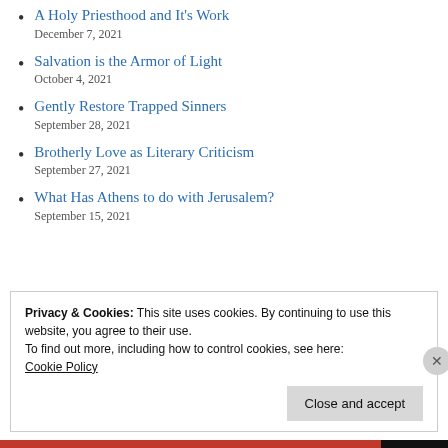A Holy Priesthood and It's Work
December 7, 2021
Salvation is the Armor of Light
October 4, 2021
Gently Restore Trapped Sinners
September 28, 2021
Brotherly Love as Literary Criticism
September 27, 2021
What Has Athens to do with Jerusalem?
September 15, 2021
Privacy & Cookies: This site uses cookies. By continuing to use this website, you agree to their use.
To find out more, including how to control cookies, see here:
Cookie Policy
Close and accept